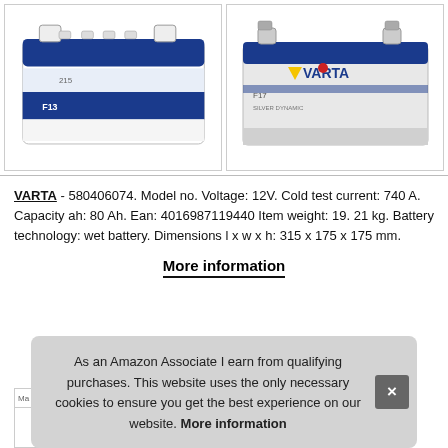[Figure (photo): Two VARTA car batteries shown side by side. Left: blue VARTA F13 battery. Right: silver/grey VARTA F17 battery.]
VARTA - 580406074. Model no. Voltage: 12V. Cold test current: 740 A. Capacity ah: 80 Ah. Ean: 4016987119440 Item weight: 19. 21 kg. Battery technology: wet battery. Dimensions l x w x h: 315 x 175 x 175 mm.
More information
As an Amazon Associate I earn from qualifying purchases. This website uses the only necessary cookies to ensure you get the best experience on our website. More information